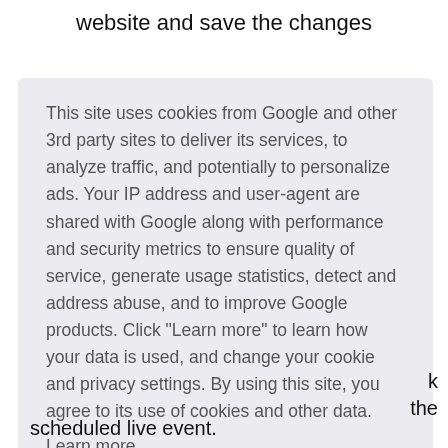website and save the changes
[Figure (screenshot): Partial cookie consent dialog overlay with text and Got it! button]
This site uses cookies from Google and other 3rd party sites to deliver its services, to analyze traffic, and potentially to personalize ads. Your IP address and user-agent are shared with Google along with performance and security metrics to ensure quality of service, generate usage statistics, detect and address abuse, and to improve Google products. Click "Learn more" to learn how your data is used, and change your cookie and privacy settings. By using this site, you agree to its use of cookies and other data.
Learn more
Got it!
scheduled live event.